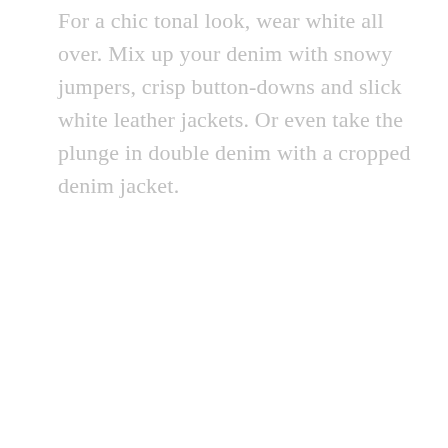For a chic tonal look, wear white all over. Mix up your denim with snowy jumpers, crisp button-downs and slick white leather jackets. Or even take the plunge in double denim with a cropped denim jacket.